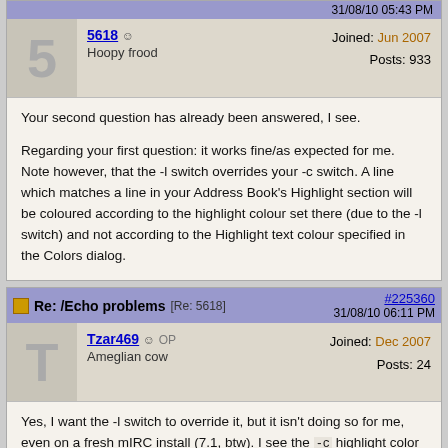31/08/10 05:43 PM
5618 ☺ Hoopy frood   Joined: Jun 2007  Posts: 933
Your second question has already been answered, I see.

Regarding your first question: it works fine/as expected for me.
Note however, that the -l switch overrides your -c switch. A line which matches a line in your Address Book's Highlight section will be coloured according to the highlight colour set there (due to the -l switch) and not according to the Highlight text colour specified in the Colors dialog.
Re: /Echo problems [Re: 5618]  #225360  31/08/10 06:11 PM
Tzar469 ☺ OP Ameglian cow   Joined: Dec 2007  Posts: 24
Yes, I want the -l switch to override it, but it isn't doing so for me, even on a fresh mIRC install (7.1, btw). I see the -c highlight color instead.

As for the timestamp issue, I really don't want to print my...